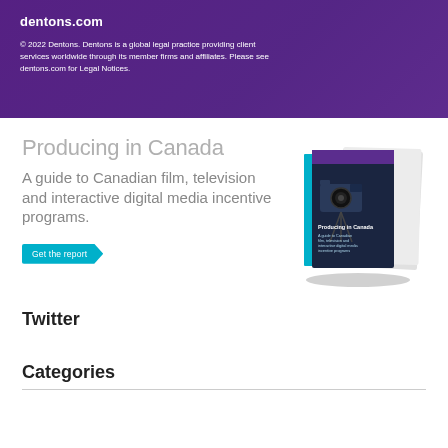dentons.com
© 2022 Dentons. Dentons is a global legal practice providing client services worldwide through its member firms and affiliates. Please see dentons.com for Legal Notices.
Producing in Canada
A guide to Canadian film, television and interactive digital media incentive programs.
[Figure (photo): Book cover showing 'Producing in Canada: A guide to Canadian film, television and interactive digital media incentive programs.' with a camera on the cover.]
Get the report
Twitter
Categories